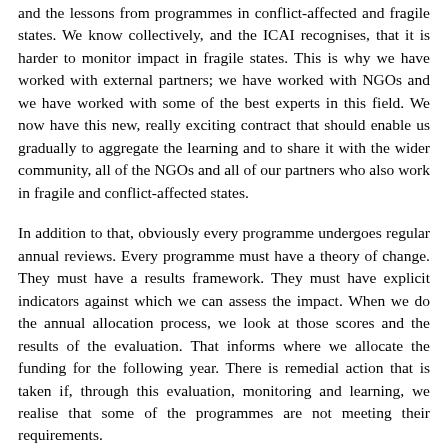and the lessons from programmes in conflict-affected and fragile states. We know collectively, and the ICAI recognises, that it is harder to monitor impact in fragile states. This is why we have worked with external partners; we have worked with NGOs and we have worked with some of the best experts in this field. We now have this new, really exciting contract that should enable us gradually to aggregate the learning and to share it with the wider community, all of the NGOs and all of our partners who also work in fragile and conflict-affected states.
In addition to that, obviously every programme undergoes regular annual reviews. Every programme must have a theory of change. They must have a results framework. They must have explicit indicators against which we can assess the impact. When we do the annual allocation process, we look at those scores and the results of the evaluation. That informs where we allocate the funding for the following year. There is remedial action that is taken if, through this evaluation, monitoring and learning, we realise that some of the programmes are not meeting their requirements.
You also asked about the transparency point. To confirm, we have annual reports for each of the funds that are available online. We publish the business cases for the Prosperity Fund. We have started publishing the evaluations. They are new; there were not evaluations of the Prosperity Fund until not long ago, because it is a new fund. We are now reaching the really